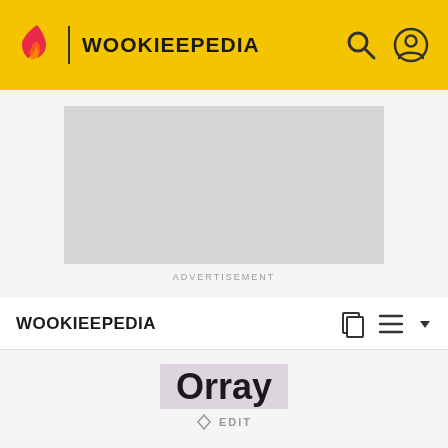WOOKIEEPEDIA
[Figure (other): Advertisement placeholder - grey rectangle]
ADVERTISEMENT
WOOKIEEPEDIA
Orray
EDIT